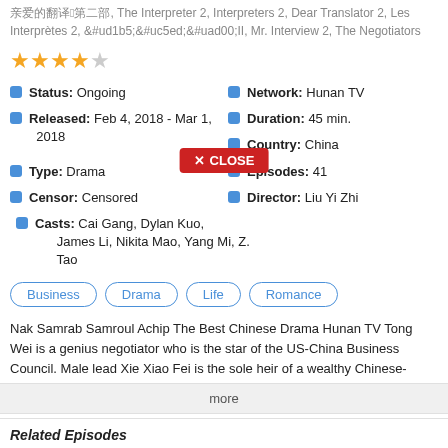亲爱的翻译官2第二部, The Interpreter 2, Interpreters 2, Dear Translator 2, Les Interprètes 2, 통역관II, Mr. Interview 2, The Negotiators
[Figure (other): 4 filled gold stars and 1 empty star rating]
Status: Ongoing
Network: Hunan TV
Released: Feb 4, 2018 - Mar 1, 2018
Duration: 45 min.
Country: China
Type: Drama
Episodes: 41
Censor: Censored
Director: Liu Yi Zhi
Casts: Cai Gang, Dylan Kuo, James Li, Nikita Mao, Yang Mi, Z. Tao
Business  Drama  Life  Romance
Nak Samrab Samroul Achip The Best Chinese Drama Hunan TV Tong Wei is a genius negotiator who is the star of the US-China Business Council. Male lead Xie Xiao Fei is the sole heir of a wealthy Chinese-
more
Related Episodes